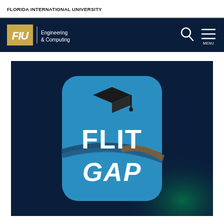FLORIDA INTERNATIONAL UNIVERSITY
[Figure (logo): FIU Engineering & Computing navigation bar with FIU logo, search icon, and menu icon]
[Figure (logo): FLIT GAP app logo on dark navy background: rounded square with blue background showing graduation cap and FLIT GAP text with swoosh design]